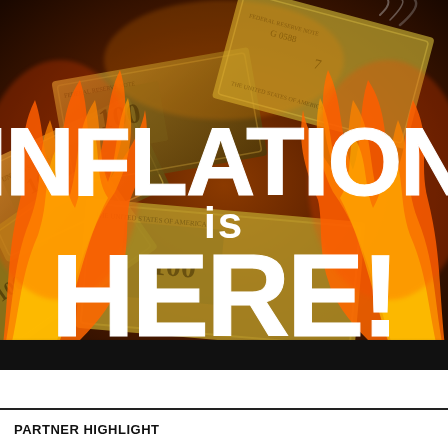[Figure (photo): Book or report cover image showing burning US dollar bills with flames and smoke against a dark background. Large bold white text reads 'INFLATION is HERE!' overlaid on the burning money image.]
PARTNER HIGHLIGHT